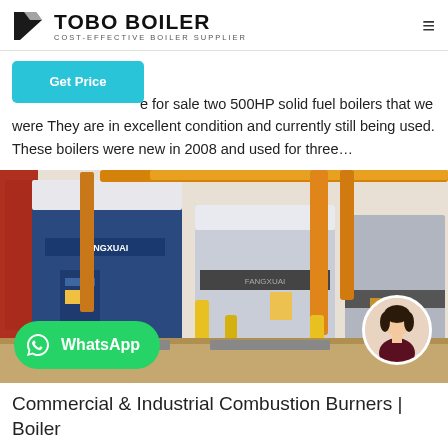TOBO BOILER | COST-EFFECTIVE BOILER SUPPLIER
e for sale two 500HP solid fuel boilers that we were They are in excellent condition and currently still being used. These boilers were new in 2008 and used for three…
[Figure (photo): Industrial boiler room showing large blue and white FANGXUAI branded boilers with yellow and orange piping, with a WhatsApp button overlay at the bottom left and a circular avatar photo of a woman at the bottom right.]
Commercial & Industrial Combustion Burners | Boiler